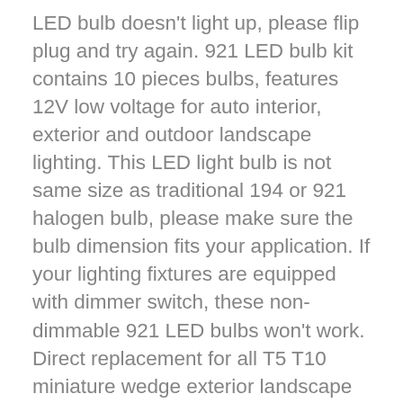LED bulb doesn't light up, please flip plug and try again. 921 LED bulb kit contains 10 pieces bulbs, features 12V low voltage for auto interior, exterior and outdoor landscape lighting. This LED light bulb is not same size as traditional 194 or 921 halogen bulb, please make sure the bulb dimension fits your application. If your lighting fixtures are equipped with dimmer switch, these non-dimmable 921 LED bulbs won't work. Direct replacement for all T5 T10 miniature wedge exterior landscape lighting or T15 wedge base light bulb for vehicles: W5W W3W W10W 124 147 152 158 159 160 161 168 175 184 192 193 194 c194 195 259 280 285 447 464 501 555 558 579 585 655 656 657 658 1250 1251 1252 2450 2652 2821 2825 2825L 2827 2921 175 3652 W16W T15 579 901 902 904 906 908 909 912 914 915 916 916LL 916NA 917 918 920 921 921K 922 923 926 927 928 939 Commonly used for car, RV camper, travel trailer, motorhome, 5th wheel, marine boat, pontoon, vessel, barge, ship, sail boat, yacht, van,